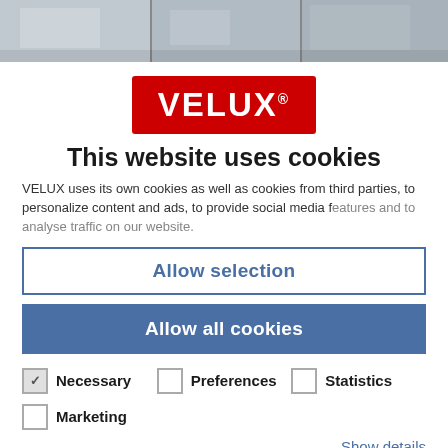[Figure (photo): Top background image showing interior room scene, partially visible]
[Figure (logo): VELUX logo — white text on red rectangle background with registered trademark symbol]
This website uses cookies
VELUX uses its own cookies as well as cookies from third parties, to personalize content and ads, to provide social media features and to analyse traffic on our website.
Allow selection
Allow all cookies
Necessary
Preferences
Statistics
Marketing
Show details